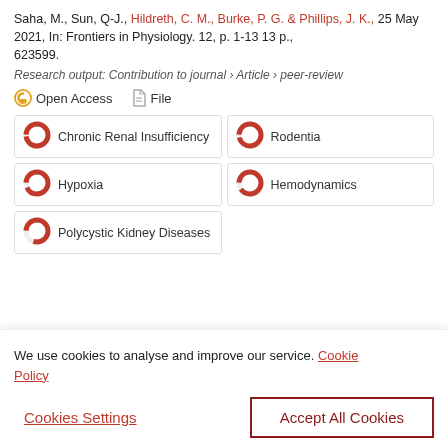Saha, M., Sun, Q-J., Hildreth, C. M., Burke, P. G. & Phillips, J. K., 25 May 2021, In: Frontiers in Physiology. 12, p. 1-13 13 p., 623599.
Research output: Contribution to journal › Article › peer-review
Open Access   File
Chronic Renal Insufficiency
Rodentia
Hypoxia
Hemodynamics
Polycystic Kidney Diseases
Relationship between sex and cardiovascular complications in chronic kidney disease — a...
We use cookies to analyse and improve our service. Cookie Policy
Cookies Settings   Accept All Cookies